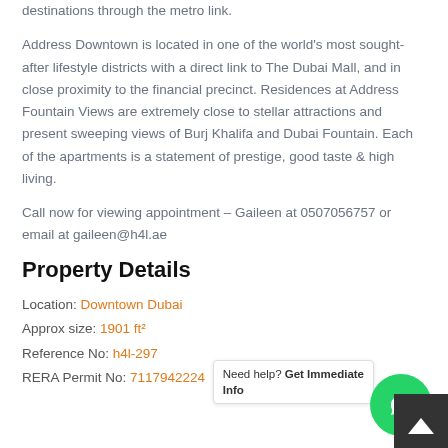destinations through the metro link.
Address Downtown is located in one of the world's most sought-after lifestyle districts with a direct link to The Dubai Mall, and in close proximity to the financial precinct. Residences at Address Fountain Views are extremely close to stellar attractions and present sweeping views of Burj Khalifa and Dubai Fountain. Each of the apartments is a statement of prestige, good taste & high living.
Call now for viewing appointment – Gaileen at 0507056757 or email at gaileen@h4l.ae
Property Details
Location: Downtown Dubai
Approx size: 1901 ft²
Reference No: h4l-297
RERA Permit No: 7117942224